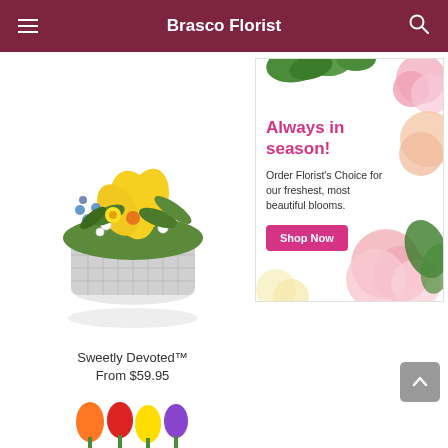Brasco Florist
[Figure (photo): Flower arrangement in a white wicker basket with yellow lilies, blue and white flowers, and green foliage - Sweetly Devoted product photo]
Sweetly Devoted™
From $59.95
[Figure (infographic): Advertisement banner: 'Always in season! Order Florist's Choice for our freshest, most beautiful blooms.' with a Shop Now button, decorated with pink roses and green foliage]
[Figure (photo): Bottom edge of another flower product visible at the bottom of the page]